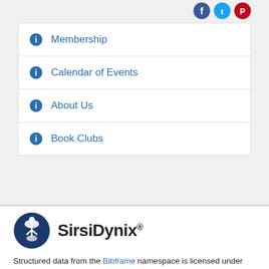Membership
Calendar of Events
About Us
Book Clubs
[Figure (logo): SirsiDynix logo — dark blue circular emblem with stylized figures and a book, next to the text 'SirsiDynix' in bold black with registered trademark symbol]
Structured data from the Bibframe namespace is licensed under the Creative Commons Attribution 4.0 International License by St. Catharines Public Library. Additional terms may apply to data associated with third